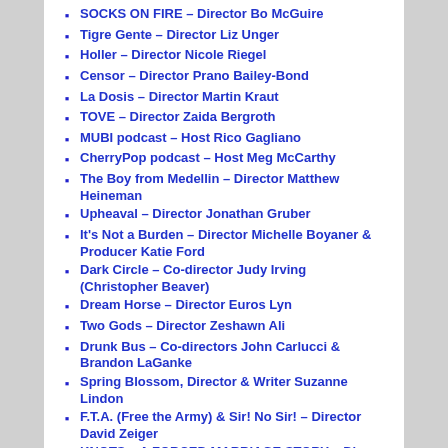SOCKS ON FIRE – Director Bo McGuire
Tigre Gente – Director Liz Unger
Holler – Director Nicole Riegel
Censor – Director Prano Bailey-Bond
La Dosis – Director Martin Kraut
TOVE – Director Zaida Bergroth
MUBI podcast – Host Rico Gagliano
CherryPop podcast – Host Meg McCarthy
The Boy from Medellin – Director Matthew Heineman
Upheaval – Director Jonathan Gruber
It's Not a Burden – Director Michelle Boyaner & Producer Katie Ford
Dark Circle – Co-director Judy Irving (Christopher Beaver)
Dream Horse – Director Euros Lyn
Two Gods – Director Zeshawn Ali
Drunk Bus – Co-directors John Carlucci & Brandon LaGanke
Spring Blossom, Director & Writer Suzanne Lindon
F.T.A. (Free the Army) & Sir! No Sir! – Director David Zeiger
KNOTS – A FORCED MARRIAGE STORY – Director…